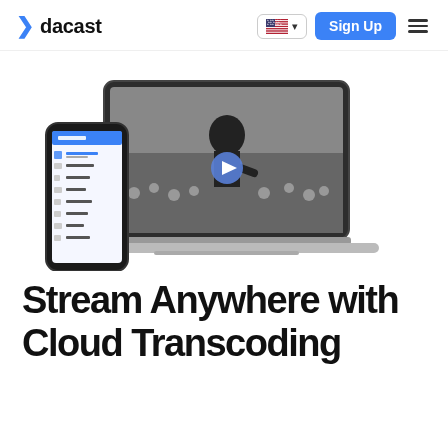dacast
[Figure (screenshot): Dacast website hero section showing a laptop with a video player displaying a speaker at a conference, and a smartphone showing the Dacast mobile app dashboard interface]
Stream Anywhere with Cloud Transcoding